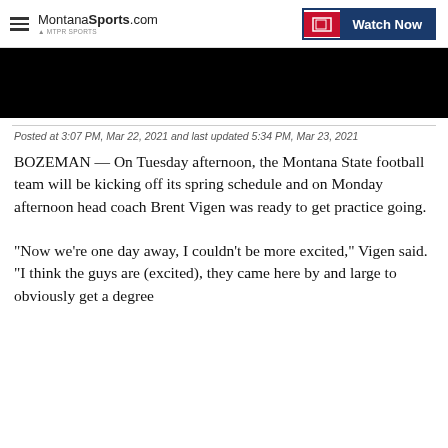MontanaSports.com | Watch Now
[Figure (photo): Black video thumbnail/player area]
Posted at 3:07 PM, Mar 22, 2021 and last updated 5:34 PM, Mar 23, 2021
BOZEMAN — On Tuesday afternoon, the Montana State football team will be kicking off its spring schedule and on Monday afternoon head coach Brent Vigen was ready to get practice going.
"Now we're one day away, I couldn't be more excited," Vigen said. "I think the guys are (excited), they came here by and large to obviously get a degree